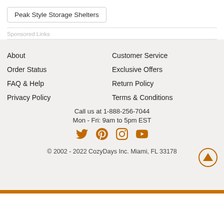Peak Style Storage Shelters
Sponsored Links
About
Customer Service
Order Status
Exclusive Offers
FAQ & Help
Return Policy
Privacy Policy
Terms & Conditions
Call us at 1-888-256-7044
Mon - Fri: 9am to 5pm EST
[Figure (illustration): Social media icons: Twitter, Pinterest, Instagram, YouTube in orange]
© 2002 - 2022 CozyDays Inc. Miami, FL 33178